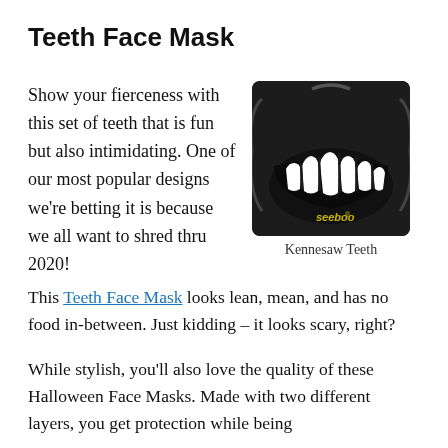Teeth Face Mask
Show your fierceness with this set of teeth that is fun but also intimidating. One of our most popular designs we're betting it is because we all want to shred thru 2020! This Teeth Face Mask looks lean, mean, and has no food in-between. Just kidding – it looks scary, right?
[Figure (photo): A black face mask with a graphic of white sharp teeth printed on the lower half, branded 'seeboo', with ear straps visible. Caption reads 'Kennesaw Teeth'.]
Kennesaw Teeth
While stylish, you'll also love the quality of these Halloween Face Masks. Made with two different layers, you get protection while being